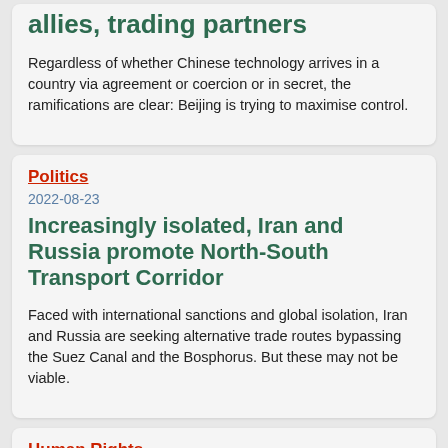allies, trading partners
Regardless of whether Chinese technology arrives in a country via agreement or coercion or in secret, the ramifications are clear: Beijing is trying to maximise control.
Politics
2022-08-23
Increasingly isolated, Iran and Russia promote North-South Transport Corridor
Faced with international sanctions and global isolation, Iran and Russia are seeking alternative trade routes bypassing the Suez Canal and the Bosphorus. But these may not be viable.
Human Rights
2022-08-22
Uzbekistan warns citizens against